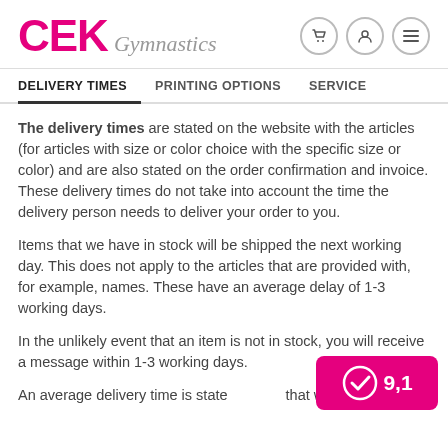CEK Gymnastics
DELIVERY TIMES | PRINTING OPTIONS | SERVICE
The delivery times are stated on the website with the articles (for articles with size or color choice with the specific size or color) and are also stated on the order confirmation and invoice. These delivery times do not take into account the time the delivery person needs to deliver your order to you.
Items that we have in stock will be shipped the next working day. This does not apply to the articles that are provided with, for example, names. These have an average delay of 1-3 working days.
In the unlikely event that an item is not in stock, you will receive a message within 1-3 working days.
An average delivery time is state... that we